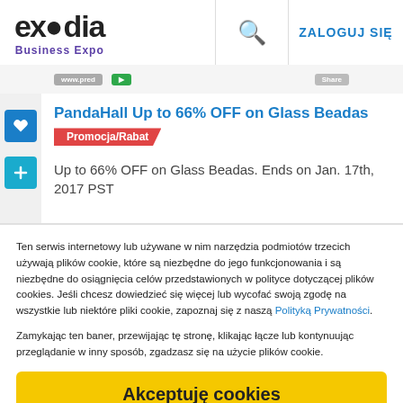exodia Business Expo | ZALOGUJ SIĘ
PandaHall Up to 66% OFF on Glass Beadas
Promocja/Rabat
Up to 66% OFF on Glass Beadas. Ends on Jan. 17th, 2017 PST
Ten serwis internetowy lub używane w nim narzędzia podmiotów trzecich używają plików cookie, które są niezbędne do jego funkcjonowania i są niezbędne do osiągnięcia celów przedstawionych w polityce dotyczącej plików cookies. Jeśli chcesz dowiedzieć się więcej lub wycofać swoją zgodę na wszystkie lub niektóre pliki cookie, zapoznaj się z naszą Polityką Prywatności.
Zamykając ten baner, przewijając tę stronę, klikając łącze lub kontynuując przeglądanie w inny sposób, zgadzasz się na użycie plików cookie.
Akceptuję cookies